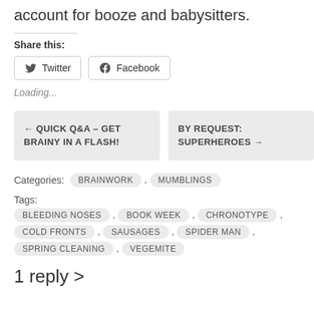account for booze and babysitters.
Share this:
Twitter  Facebook
Loading...
← QUICK Q&A – GET BRAINY IN A FLASH!
BY REQUEST: SUPERHEROES →
Categories: BRAINWORK , MUMBLINGS
Tags: BLEEDING NOSES , BOOK WEEK , CHRONOTYPE , COLD FRONTS , SAUSAGES , SPIDER MAN , SPRING CLEANING , VEGEMITE
1 reply >